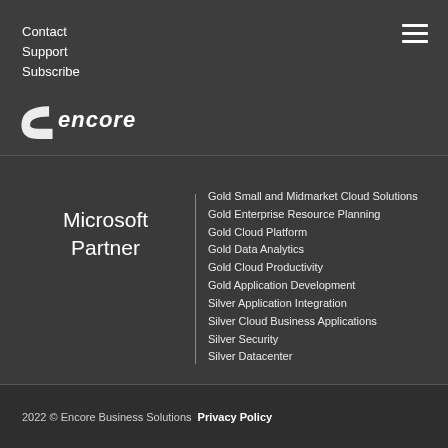Contact
Support
Subscribe
[Figure (logo): Encore Business Solutions logo with arc symbol and bold italic 'encore' text]
Gold Small and Midmarket Cloud Solutions
Gold Enterprise Resource Planning
Gold Cloud Platform
Gold Data Analytics
Gold Cloud Productivity
Gold Application Development
Silver Application Integration
Silver Cloud Business Applications
Silver Security
Silver Datacenter
Microsoft Partner
2022 © Encore Business Solutions   Privacy Policy